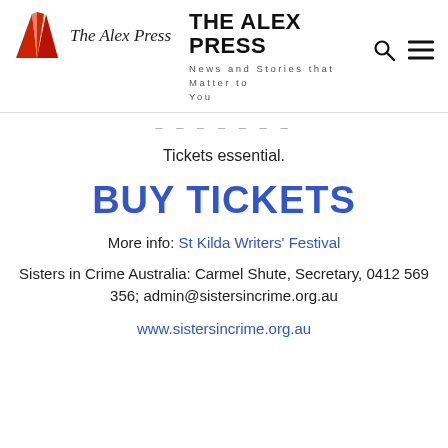THE ALEX PRESS — News and Stories that Matter to You
Tickets essential.
BUY TICKETS
More info: St Kilda Writers' Festival
Sisters in Crime Australia: Carmel Shute, Secretary, 0412 569 356; admin@sistersincrime.org.au
www.sistersincrime.org.au